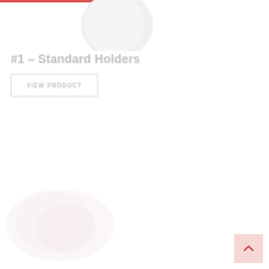[Figure (photo): Partial view of a white product (appears to be a holder/dispenser) on white background, cropped at top of page]
#1 – Standard Holders
VIEW PRODUCT
[Figure (photo): Faint/faded partial image of another product at bottom left, very light pink/white tones]
[Figure (other): Scroll-to-top button with upward chevron arrow, light pink/salmon background, bottom right corner]